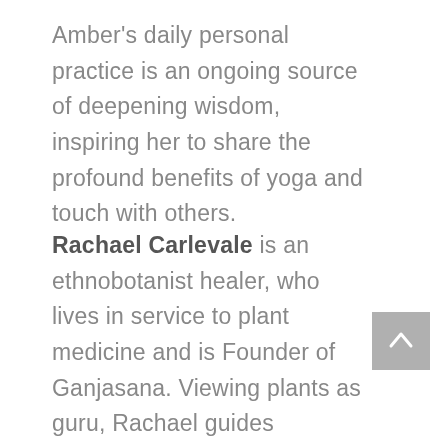Amber's daily personal practice is an ongoing source of deepening wisdom, inspiring her to share the profound benefits of yoga and touch with others.
Rachael Carlevale is an ethnobotanist healer, who lives in service to plant medicine and is Founder of Ganjasana. Viewing plants as guru, Rachael guides individuals to build a relationship with plant spirits through the practices of yoga, meditation and mindfulness. She also designs transformative experiences in a ceremonial setting to honor the
[Figure (other): Back to top button — grey square with white upward chevron arrow]